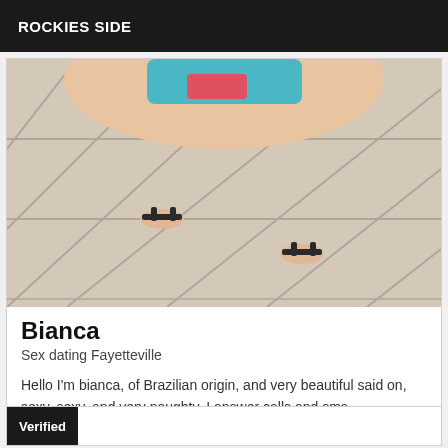ROCKIES SIDE
[Figure (photo): Photo taken from above showing a person's torso/hips wearing a colorful bikini top and black sandals, standing on white tile floor]
Bianca
Sex dating Fayetteville
Hello I'm bianca, of Brazilian origin, and very beautiful said on, sexy, sexy, and very naughty. I answer calls and sms.
Verified